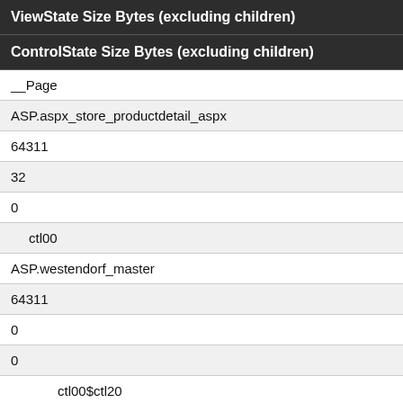| ViewState Size Bytes (excluding children) | ControlState Size Bytes (excluding children) |
| --- | --- |
| __Page | ASP.aspx_store_productdetail_aspx | 64311 | 32 | 0 |
| ctl00 | ASP.westendorf_master | 64311 | 0 | 0 |
| ctl00$ctl20 | System.Web.UI.LiteralControl | 172 |